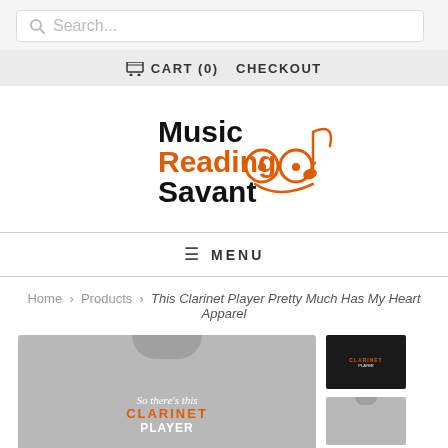Search...
CART (0)  CHECKOUT
[Figure (logo): Music Reading Savant logo with musical note and face icon in black and orange]
≡ MENU
Home > Products > This Clarinet Player Pretty Much Has My Heart Apparel
[Figure (photo): Gray t-shirt with text 'So there's this CLARINET PLAYER' and a black t-shirt thumbnail]